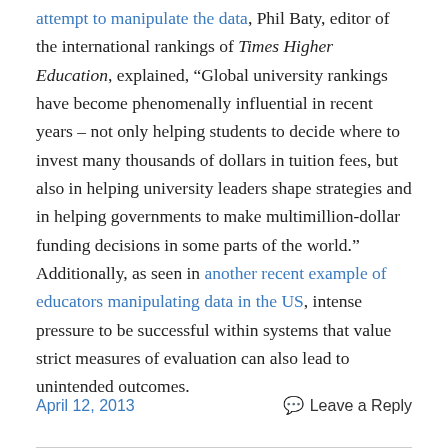attempt to manipulate the data, Phil Baty, editor of the international rankings of Times Higher Education, explained, “Global university rankings have become phenomenally influential in recent years – not only helping students to decide where to invest many thousands of dollars in tuition fees, but also in helping university leaders shape strategies and in helping governments to make multimillion-dollar funding decisions in some parts of the world.” Additionally, as seen in another recent example of educators manipulating data in the US, intense pressure to be successful within systems that value strict measures of evaluation can also lead to unintended outcomes.
April 12, 2013    Leave a Reply